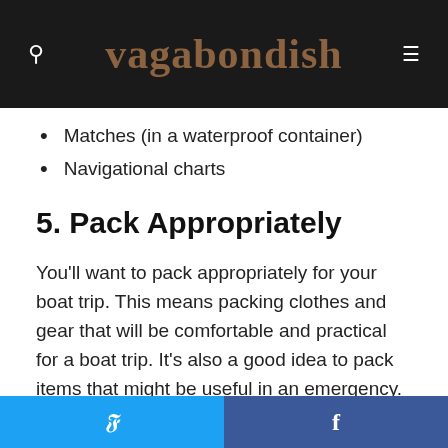vagabondish
Matches (in a waterproof container)
Navigational charts
5. Pack Appropriately
You’ll want to pack appropriately for your boat trip. This means packing clothes and gear that will be comfortable and practical for a boat trip. It’s also a good idea to pack items that might be useful in an emergency. Some things you may want to pack include:
Twitter share | Facebook share